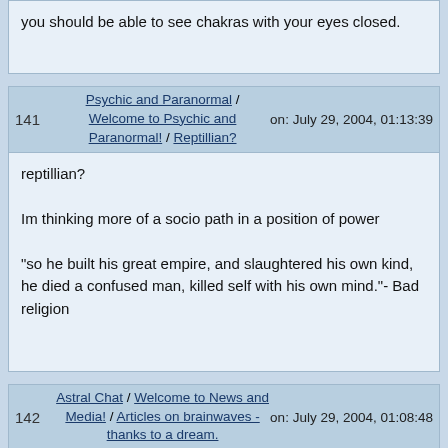you should be able to see chakras with your eyes closed.
| num | links | time |
| --- | --- | --- |
| 141 | Psychic and Paranormal / Welcome to Psychic and Paranormal! / Reptillian? | on: July 29, 2004, 01:13:39 |
reptillian?

Im thinking more of a socio path in a position of power

"so he built his great empire, and slaughtered his own kind, he died a confused man, killed self with his own mind."- Bad religion
| num | links | time |
| --- | --- | --- |
| 142 | Astral Chat / Welcome to News and Media! / Articles on brainwaves - thanks to a dream. | on: July 29, 2004, 01:08:48 |
the american government  uses haarp to blast the ionosphere, producing ELF waves which radiate towards the earth

are brains will eventually mimic the waves that they are